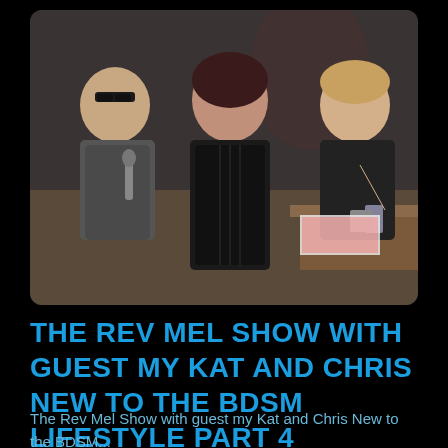[Figure (photo): Three people seated in what appears to be a talk show set. On the left, a man wearing sunglasses and holding a microphone. In the center, a woman wearing a black corset dress. On the right, a woman in black clothing. A table with drinks and papers is visible in the background.]
THE REV MEL SHOW WITH GUEST MY KAT AND CHRIS NEW TO THE BDSM LIFESTYLE PART 4
The Rev Mel Show with guest my Kat and Chris New to the BDSM...